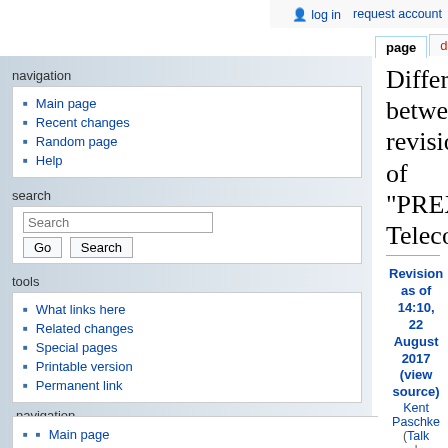log in  request account
Difference between revisions of "PREX/CREX Teleconferences"
Main page
Recent changes
Random page
Help
What links here
Related changes
Special pages
Printable version
Permanent link
| Left | Right |
| --- | --- |
| Revision as of 14:10, 22 August 2017 (view source)
Kent Paschke (Talk | contribs)
(→2017)
← Older edit | Revision as of 16:05, 28 August 2017 (view source)
Ciprian Gal (Talk | contribs)
(→2017)
Newer edit → |
Line 25:   Line 25:
| [[PREX/CREX_Jun_1_2017_11:00am_EDT|1]],
[[PREX/CREX_Jun...
| [[PREX/CREX_Jun_1_2017_11:00am_EDT|1]],
[[PREX/CREX_Jun...